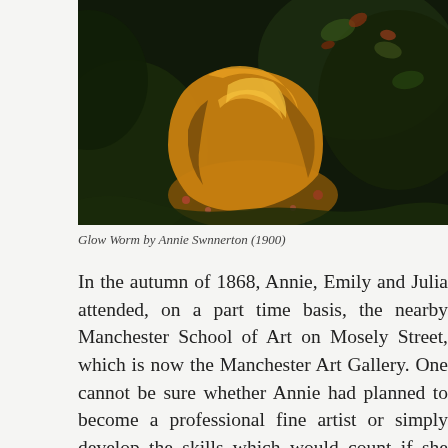[Figure (photo): A painting showing a figure in golden/yellow flowing robes crouched or seated among dark foliage and flowers. The painting is dark overall with rich warm tones of gold and amber against a dark green and black background.]
Glow Worm by Annie Swnnerton (1900)
In the autumn of 1868, Annie, Emily and Julia attended, on a part time basis, the nearby Manchester School of Art on Mosely Street, which is now the Manchester Art Gallery. One cannot be sure whether Annie had planned to become a professional fine artist or simply develop the skills which would count if she ever applied for a post as a governess. The three sisters all did well and, during the period they